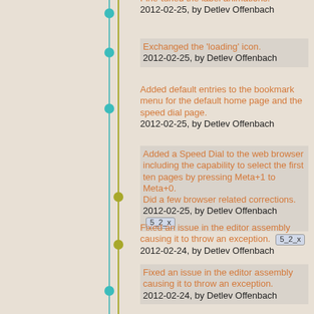Fine-tuned the label animations.
2012-02-25, by Detlev Offenbach
Exchanged the 'loading' icon.
2012-02-25, by Detlev Offenbach
Added default entries to the bookmark menu for the default home page and the speed dial page.
2012-02-25, by Detlev Offenbach
Added a Speed Dial to the web browser including the capability to select the first ten pages by pressing Meta+1 to Meta+0.
Did a few browser related corrections.
2012-02-25, by Detlev Offenbach [5_2_x]
Fixed an issue in the editor assembly causing it to throw an exception. [5_2_x]
2012-02-24, by Detlev Offenbach
Fixed an issue in the editor assembly causing it to throw an exception.
2012-02-24, by Detlev Offenbach
Reworked some stuff in the web browser to use Qt resources.
2012-02-23, by Detlev Offenbach
Reworked some stuff in the web browser to use Qt resources.
2012-02-23, by Detlev Offenbach
Small modification to the start page.
2012-02-23, by Detlev Offenbach
Fixed an issue in the install script. [5_2_x]
2012-02-23, by Detlev Offenbach
Fixed an issue in the install script.